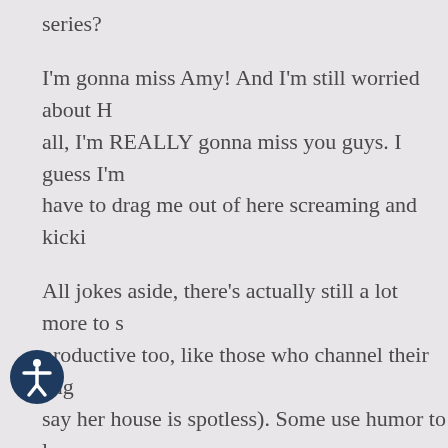series?
I'm gonna miss Amy! And I'm still worried about H all, I'm REALLY gonna miss you guys. I guess I'm have to drag me out of here screaming and kicki
All jokes aside, there's actually still a lot more to s productive too, like those who channel their ange say her house is spotless). Some use humor to le others might go out for a run when they're distre considered more 'mature' types of defense mech them in times of despair?
Yes.
Does it make us horrible people?